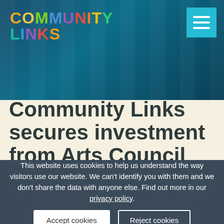[Figure (logo): Community Links logo with multicolored letters on dark teal header background, with hamburger menu button in cyan on the right]
Community Links secures investment from Arts Council
This website uses cookies to help us understand the way visitors use our website. We can't identify you with them and we don't share the data with anyone else. Find out more in our privacy policy.